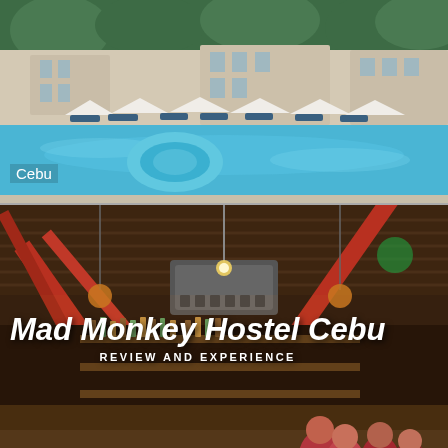[Figure (photo): Outdoor resort swimming pool with lounge chairs, white umbrellas, and lush trees in the background. Blue pool water visible. Label 'Cebu' overlaid in bottom-left.]
[Figure (photo): Interior of Mad Monkey Hostel Cebu showing industrial-style bar/common area with red steel beams, corrugated metal ceiling, warm pendant lights, air conditioning unit, and guests at the bar. Title text overlay reads 'Mad Monkey Hostel Cebu' and 'REVIEW AND EXPERIENCE'. Label 'Hotels and Hostels' overlaid in bottom-left.]
[Figure (photo): Hotel corridor interior with blurred warm lighting on the left side, and on the right a person's hand using a key card on a door lock panel.]